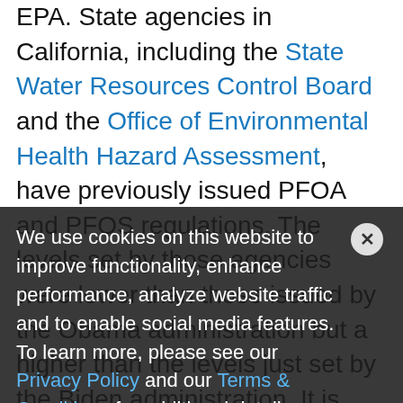EPA. State agencies in California, including the State Water Resources Control Board and the Office of Environmental Health Hazard Assessment, have previously issued PFOA and PFOS regulations. The levels set by those agencies were lower than those issued by the Obama administration but a higher than the levels just set by the Biden administration. It is certainly possible that this new regulation from the Biden administration will spur action at the state level in California and other states with similar views on environmental regulation. EPA's announcement is a significant step in the regulation of PFAS. It is likely even
We use cookies on this website to improve functionality, enhance performance, analyze website traffic and to enable social media features. To learn more, please see our Privacy Policy and our Terms & Conditions for additional detail.